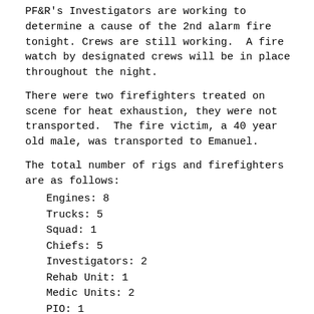PF&R's Investigators are working to determine a cause of the 2nd alarm fire tonight. Crews are still working.  A fire watch by designated crews will be in place throughout the night.
There were two firefighters treated on scene for heat exhaustion, they were not transported.  The fire victim, a 40 year old male, was transported to Emanuel.
The total number of rigs and firefighters are as follows:
Engines: 8
Trucks:  5
Squad:   1
Chiefs:  5
Investigators:  2
Rehab Unit:  1
Medic Units:  2
PIO:  1
Approximate number of personnel on scene = 72
********
Portland Fire & Rescue is responding to a 2-alarm townhouse fire...